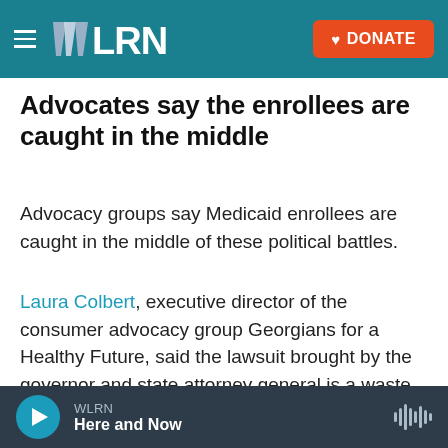WLRN — DONATE
Advocates say the enrollees are caught in the middle
Advocacy groups say Medicaid enrollees are caught in the middle of these political battles.
Laura Colbert, executive director of the consumer advocacy group Georgians for a Healthy Future, said the lawsuit brought by the governor and state attorney general is a waste of time and taxpayer dollars. "Federal courts have repeatedly struck down work requirements for Medicaid-eligible
WLRN — Here and Now